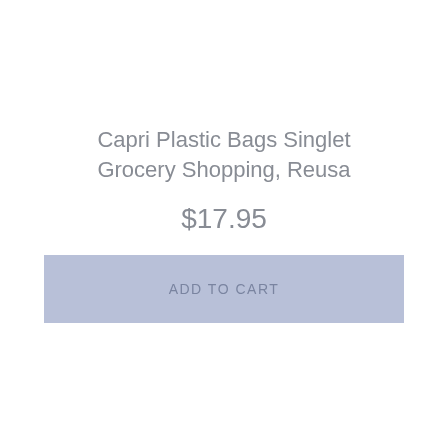Capri Plastic Bags Singlet Grocery Shopping, Reusa
$17.95
ADD TO CART